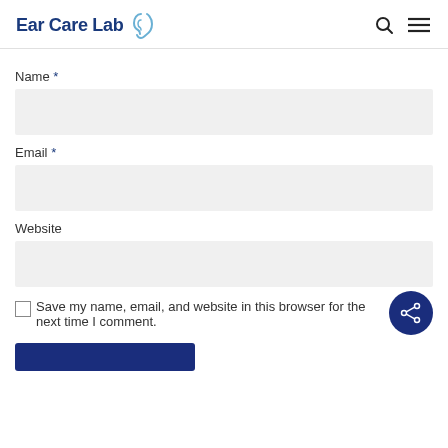Ear Care Lab
Name *
Email *
Website
Save my name, email, and website in this browser for the next time I comment.